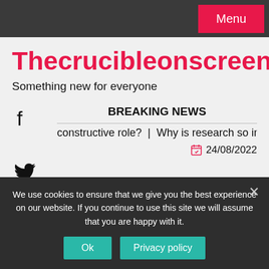Menu
Thecrucibleonscreen.com
Something new for everyone
BREAKING NEWS
constructive role?  |  Why is research so important?  |  Did A
24/08/2022
We use cookies to ensure that we give you the best experience on our website. If you continue to use this site we will assume that you are happy with it.
Ok  Privacy policy